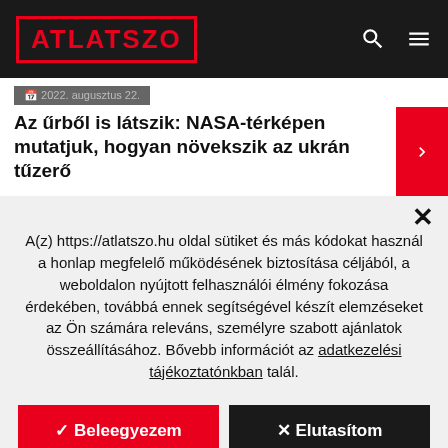ATLATSZO
2022. augusztus 22.
Az űrből is látszik: NASA-térképen mutatjuk, hogyan növekszik az ukrán tűzerő
A(z) https://atlatszo.hu oldal sütiket és más kódokat használ a honlap megfelelő működésének biztosítása céljából, a weboldalon nyújtott felhasználói élmény fokozása érdekében, továbbá ennek segítségével készít elemzéseket az Ön számára releváns, személyre szabott ajánlatok összeállításához. Bővebb információt az adatkezelési tájékoztatónkban talál.
✓ Beleegyezem
✕ Elutasítom